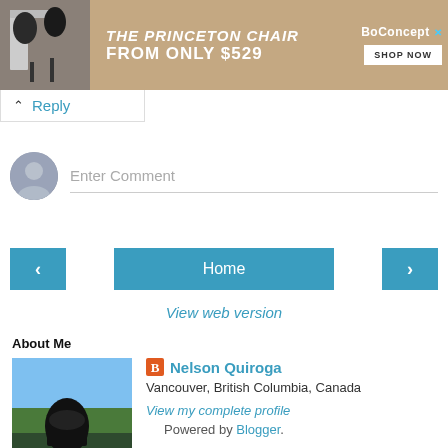[Figure (photo): BoConcept advertisement banner for The Princeton Chair from only $529 with Shop Now button]
Reply
Enter Comment
Home
View web version
About Me
[Figure (photo): Profile photo of Nelson Quiroga outdoors on a rocky mountain]
Nelson Quiroga
Vancouver, British Columbia, Canada
View my complete profile
Powered by Blogger.